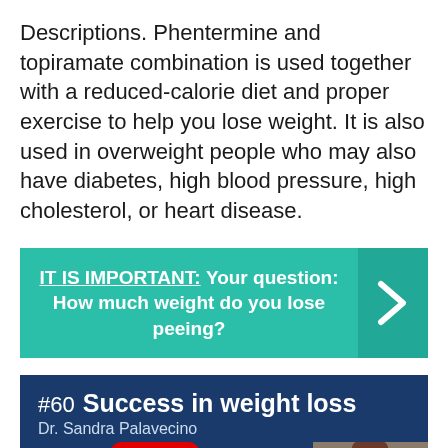Descriptions. Phentermine and topiramate combination is used together with a reduced-calorie diet and proper exercise to help you lose weight. It is also used in overweight people who may also have diabetes, high blood pressure, high cholesterol, or heart disease.
[Figure (infographic): Teal banner with text: IT IS IMPORTANT: Your question: How much weight do you lose peeing? with a right-arrow chevron on the right side]
[Figure (screenshot): Dark blue video thumbnail for '#60 Success in weight loss' by Dr. Sandra Palavecino, with a YouTube play button and a photo of a woman on the right]